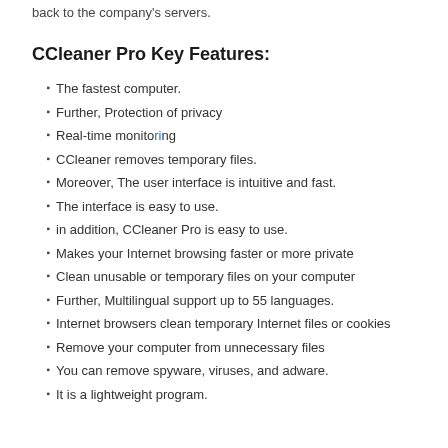back to the company's servers.
CCleaner Pro Key Features:
The fastest computer.
Further, Protection of privacy
Real-time monitoring
CCleaner removes temporary files.
Moreover, The user interface is intuitive and fast.
The interface is easy to use.
in addition, CCleaner Pro is easy to use.
Makes your Internet browsing faster or more private
Clean unusable or temporary files on your computer
Further, Multilingual support up to 55 languages.
Internet browsers clean temporary Internet files or cookies
Remove your computer from unnecessary files
You can remove spyware, viruses, and adware.
It is a lightweight program.